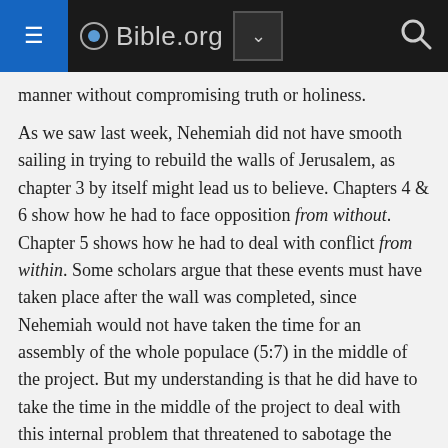Bible.org
manner without compromising truth or holiness.
As we saw last week, Nehemiah did not have smooth sailing in trying to rebuild the walls of Jerusalem, as chapter 3 by itself might lead us to believe. Chapters 4 & 6 show how he had to face opposition from without. Chapter 5 shows how he had to deal with conflict from within. Some scholars argue that these events must have taken place after the wall was completed, since Nehemiah would not have taken the time for an assembly of the whole populace (5:7) in the middle of the project. But my understanding is that he did have to take the time in the middle of the project to deal with this internal problem that threatened to sabotage the work.
The problem (5:1-5) centered on the complaints of the poorer Jews against the wealthy Jews who were either ignoring their desperate needs or were actually making